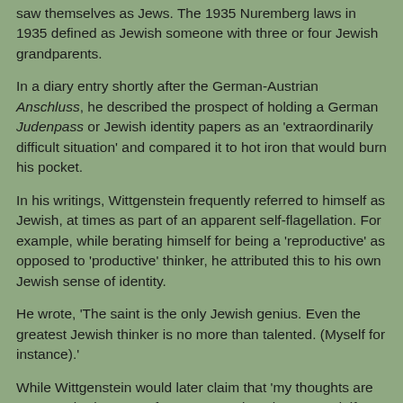saw themselves as Jews. The 1935 Nuremberg laws in 1935 defined as Jewish someone with three or four Jewish grandparents.
In a diary entry shortly after the German-Austrian Anschluss, he described the prospect of holding a German Judenpass or Jewish identity papers as an 'extraordinarily difficult situation' and compared it to hot iron that would burn his pocket.
In his writings, Wittgenstein frequently referred to himself as Jewish, at times as part of an apparent self-flagellation. For example, while berating himself for being a 'reproductive' as opposed to 'productive' thinker, he attributed this to his own Jewish sense of identity.
He wrote, 'The saint is the only Jewish genius. Even the greatest Jewish thinker is no more than talented. (Myself for instance).'
While Wittgenstein would later claim that 'my thoughts are 100% Hebraic,' as Professor Hans Sluga has argued, if so,